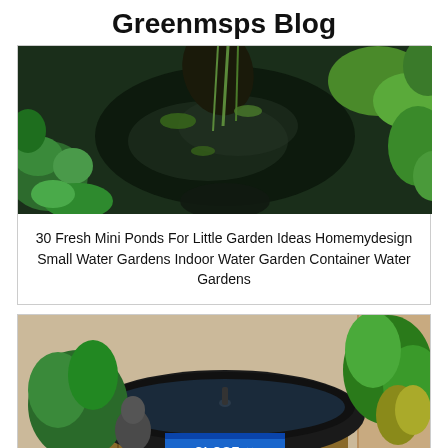Greenmsps Blog
[Figure (photo): Overhead view of a mini pond container with aquatic plants, dark water, stones and lush greenery]
30 Fresh Mini Ponds For Little Garden Ideas Homemydesign Small Water Gardens Indoor Water Garden Container Water Gardens
[Figure (photo): A dark oval bowl/planter with aquatic setup surrounded by tropical plants and a Buddha statue, on a bamboo base, with a CLOSE X button overlay]